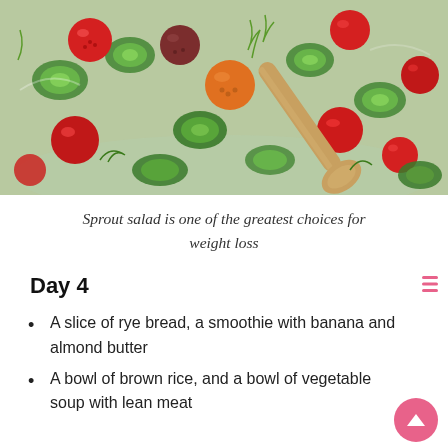[Figure (photo): A colorful sprout salad with cherry tomatoes (red, orange, brown), sliced cucumbers, fresh dill herbs, and a wooden spoon visible in the background. Served in a glass bowl.]
Sprout salad is one of the greatest choices for weight loss
Day 4
A slice of rye bread, a smoothie with banana and almond butter
A bowl of brown rice, and a bowl of vegetable soup with lean meat